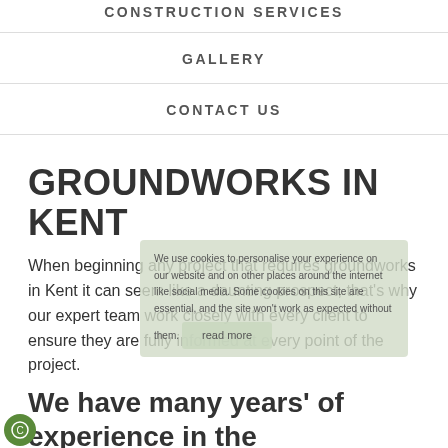CONSTRUCTION SERVICES
GALLERY
CONTACT US
GROUNDWORKS IN KENT
When beginning any project that requires groundworks in Kent it can seem like a daunting prospect, that's why our expert team work closely with every client to ensure they are fully informed at every point of the project.
We have many years' of experience in the Groundworks industry in Kent and have been